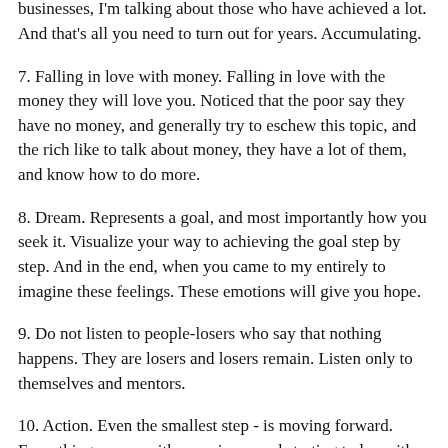of the crowd. Know human psychology better than any psychologist. Of course, this does not apply to all businesses, I'm talking about those who have achieved a lot. And that's all you need to turn out for years. Accumulating.
7. Falling in love with money. Falling in love with the money they will love you. Noticed that the poor say they have no money, and generally try to eschew this topic, and the rich like to talk about money, they have a lot of them, and know how to do more.
8. Dream. Represents a goal, and most importantly how you seek it. Visualize your way to achieving the goal step by step. And in the end, when you came to my entirely to imagine these feelings. These emotions will give you hope.
9. Do not listen to people-losers who say that nothing happens. They are losers and losers remain. Listen only to themselves and mentors.
10. Action. Even the smallest step - is moving forward. Everything comes with experience and starting today with small, you soon you will look back and wonder past.